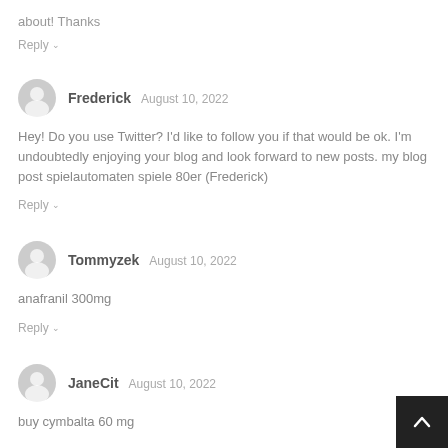about! Thanks
Reply
Frederick  August 10, 2022
Hey! Do you use Twitter? I'd like to follow you if that would be ok. I'm undoubtedly enjoying your blog and look forward to new posts. my blog post spielautomaten spiele 80er (Frederick)
Reply
Tommyzek  August 10, 2022
anafranil 300mg
Reply
JaneCit  August 10, 2022
buy cymbalta 60 mg